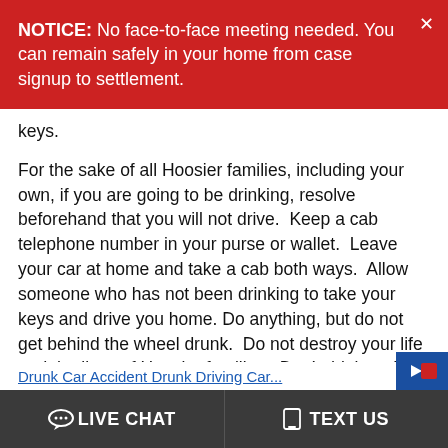NOTICE: No face-to-face meeting needed. You can remain safely in your home from case signup to settlement.
keys.
For the sake of all Hoosier families, including your own, if you are going to be drinking, resolve beforehand that you will not drive.  Keep a cab telephone number in your purse or wallet.  Leave your car at home and take a cab both ways.  Allow someone who has not been drinking to take your keys and drive you home. Do anything, but do not get behind the wheel drunk.  Do not destroy your life and the lives of Hoosier families.  Don't drink and drive.
LIVE CHAT   TEXT US